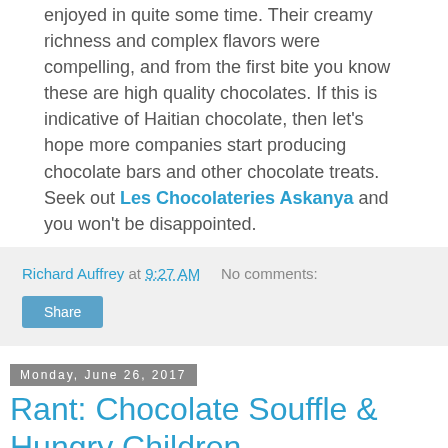enjoyed in quite some time. Their creamy richness and complex flavors were compelling, and from the first bite you know these are high quality chocolates. If this is indicative of Haitian chocolate, then let's hope more companies start producing chocolate bars and other chocolate treats. Seek out Les Chocolateries Askanya and you won't be disappointed.
Richard Auffrey at 9:27 AM   No comments:
Share
Monday, June 26, 2017
Rant: Chocolate Souffle & Hungry Children
[Figure (photo): A sign reading 'BOARD FOR KIDS - CRUISING TOGETHER FOR CHILDREN' with a ship icon, mounted on a dark background]